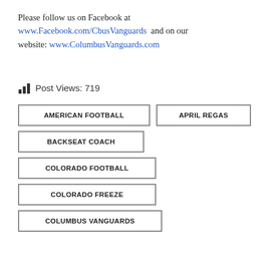Please follow us on Facebook at www.Facebook.com/CbusVanguards and on our website: www.ColumbusVanguards.com
Post Views: 719
AMERICAN FOOTBALL
APRIL REGAS
BACKSEAT COACH
COLORADO FOOTBALL
COLORADO FREEZE
COLUMBUS VANGUARDS